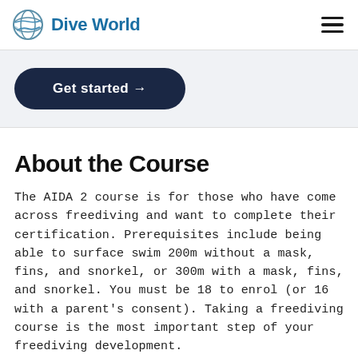Dive World
[Figure (other): Get started button with arrow]
About the Course
The AIDA 2 course is for those who have come across freediving and want to complete their certification. Prerequisites include being able to surface swim 200m without a mask, fins, and snorkel, or 300m with a mask, fins, and snorkel. You must be 18 to enrol (or 16 with a parent's consent). Taking a freediving course is the most important step of your freediving development.